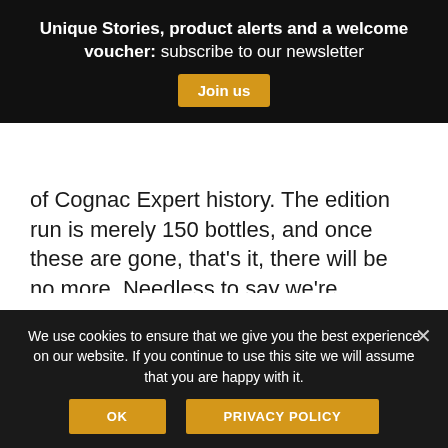Unique Stories, product alerts and a welcome voucher: subscribe to our newsletter Join us
of Cognac Expert history. The edition run is merely 150 bottles, and once these are gone, that's it, there will be no more. Needless to say we're secretly scheming Sélection Nº 2…but that remains behind the scenes for now.

If you've missed the party, then you can find out all you need to know about Sélection Nº 1 in our online shop. Also, check out our previous article about the
We use cookies to ensure that we give you the best experience on our website. If you continue to use this site we will assume that you are happy with it. OK PRIVACY POLICY